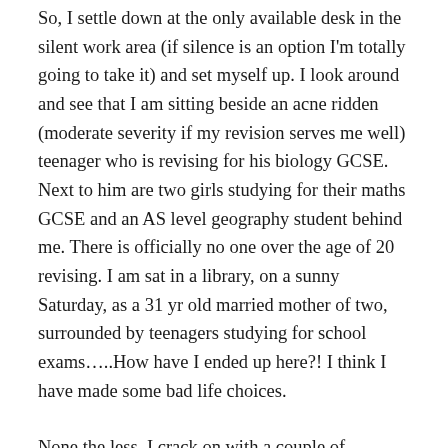So, I settle down at the only available desk in the silent work area (if silence is an option I'm totally going to take it) and set myself up. I look around and see that I am sitting beside an acne ridden (moderate severity if my revision serves me well) teenager who is revising for his biology GCSE. Next to him are two girls studying for their maths GCSE and an AS level geography student behind me. There is officially no one over the age of 20 revising. I am sat in a library, on a sunny Saturday, as a 31 yr old married mother of two, surrounded by teenagers studying for school exams…..How have I ended up here?! I think I have made some bad life choices.
None the less, I crack on with a couple of questions before the afore mentioned spotty adolescent next to me turns to ask me if he can borrow a phone charger. Unfortunately glancing at my neatly arranged work station he appears somewhat distracted. No, not by my magnificent array of stationery, but